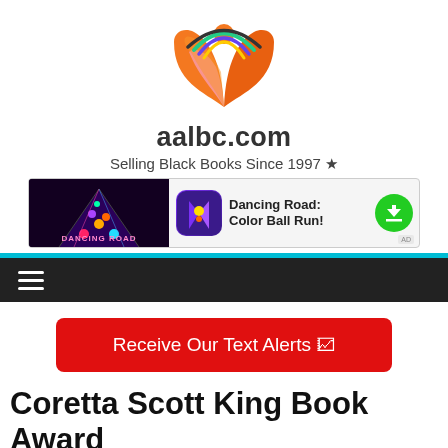[Figure (logo): AALBC.com open book logo with orange book pages and a person silhouette with colorful arc above]
aalbc.com
Selling Black Books Since 1997 ★
[Figure (screenshot): Advertisement banner for Dancing Road: Color Ball Run! app showing game screenshot on left, app icon, title text, and green download button with AD label]
≡ (navigation menu)
Receive Our Text Alerts 📰
Coretta Scott King Book Award